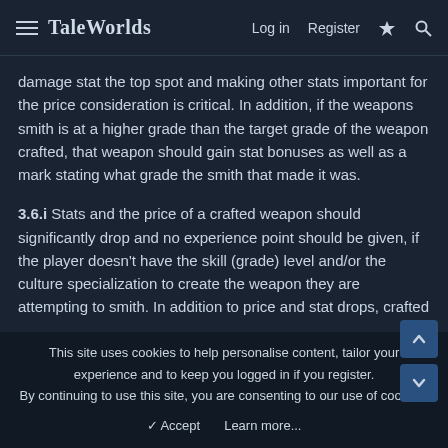TaleWorlds  Log in  Register
damage stat the top spot and making other stats important for the price consideration is critical. In addition, if the weapons smith is at a higher grade than the target grade of the weapon crafted, that weapon should gain stat bonuses as well as a mark stating what grade the smith that made it was.
3.6.i Stats and the price of a crafted weapon should significantly drop and no experience point should be given, if the player doesn't have the skill (grade) level and/or the culture specialization to create the weapon they are attempting to smith. In addition to price and stat drops, crafted weapon should also be marked as being made by an "Unqualified Smith". (or just don't allow the player to make weapons using parts above their grade level)
This site uses cookies to help personalise content, tailor your experience and to keep you logged in if you register. By continuing to use this site, you are consenting to our use of cookies.
✓ Accept    Learn more...